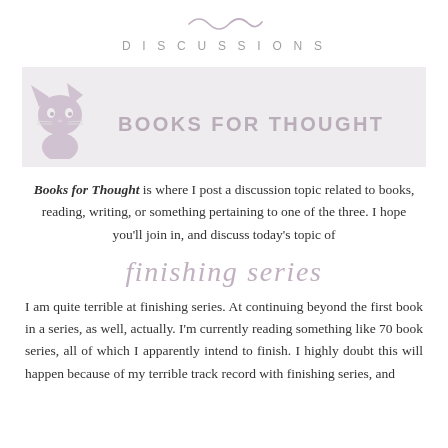[Figure (illustration): Small decorative wavy line / tilde ornament in light mauve/gray color]
DISCUSSIONS
[Figure (illustration): Banner graphic with light gray background showing a small dark purple/mauve cat silhouette on the left and bold text 'BOOKS FOR THOUGHT' in muted mauve uppercase letters]
Books for Thought is where I post a discussion topic related to books, reading, writing, or something pertaining to one of the three. I hope you'll join in, and discuss today's topic of
finishing series
I am quite terrible at finishing series. At continuing beyond the first book in a series, as well, actually. I'm currently reading something like 70 book series, all of which I apparently intend to finish. I highly doubt this will happen because of my terrible track record with finishing series, and